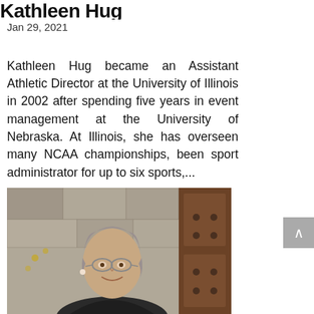Kathleen Hug
Jan 29, 2021
Kathleen Hug became an Assistant Athletic Director at the University of Illinois in 2002 after spending five years in event management at the University of Nebraska. At Illinois, she has overseen many NCAA championships, been sport administrator for up to six sports,...
[Figure (photo): Portrait photo of Kathleen Hug, a woman with short grey hair and glasses, smiling, wearing a dark jacket, standing in front of a stone wall and wooden door.]